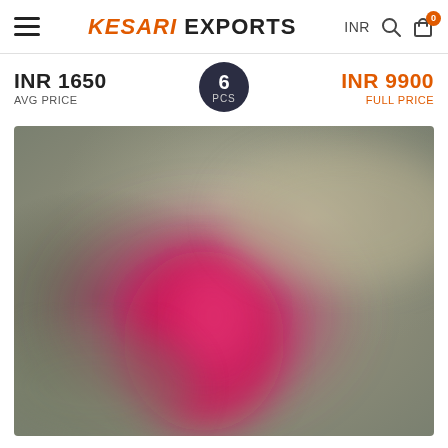KESARI EXPORTS — INR currency, search, cart (0)
INR 1650
AVG PRICE
6 PCS
INR 9900
FULL PRICE
[Figure (photo): Blurred product photo showing fabric/garment with pink/magenta tones on a muted olive-grey background]